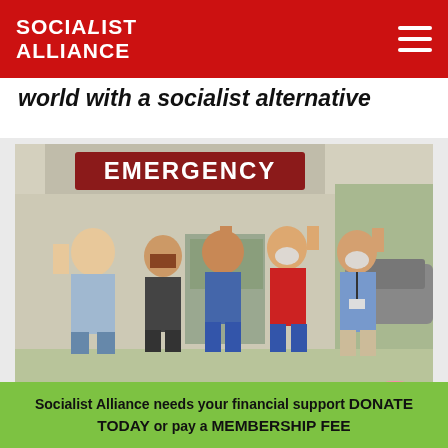SOCIALIST ALLIANCE
world with a socialist alternative
[Figure (photo): Five people standing in front of a hospital emergency entrance, raising their fists in solidarity. Some wear face masks. Sign reads EMERGENCY above them.]
Socialist Alliance needs your financial support DONATE TODAY or pay a MEMBERSHIP FEE